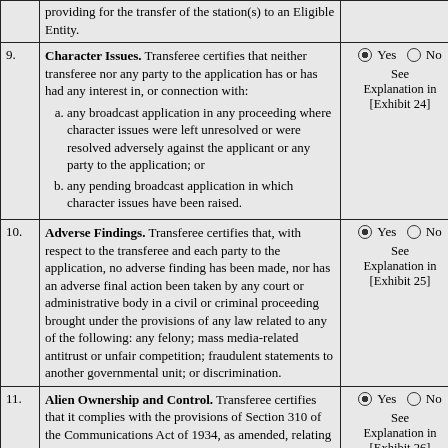| # | Description | Response |
| --- | --- | --- |
|  | providing for the transfer of the station(s) to an Eligible Entity. |  |
| 9. | Character Issues. Transferee certifies that neither transferee nor any party to the application has or has had any interest in, or connection with: a. any broadcast application in any proceeding where character issues were left unresolved or were resolved adversely against the applicant or any party to the application; or b. any pending broadcast application in which character issues have been raised. | Yes (selected) No
See Explanation in [Exhibit 24] |
| 10. | Adverse Findings. Transferee certifies that, with respect to the transferee and each party to the application, no adverse finding has been made, nor has an adverse final action been taken by any court or administrative body in a civil or criminal proceeding brought under the provisions of any law related to any of the following: any felony; mass media-related antitrust or unfair competition; fraudulent statements to another governmental unit; or discrimination. | Yes (selected) No
See Explanation in [Exhibit 25] |
| 11. | Alien Ownership and Control. Transferee certifies that it complies with the provisions of Section 310 of the Communications Act of 1934, as amended, relating to interests of aliens and foreign governments. | Yes (selected) No
See Explanation in [Exhibit 26] |
| 12. | Financial Qualifications. Transferee certifies that sufficient net liquid assets are on hand or are available from committed sources to consummate the transaction and operate the | Yes (selected) No |